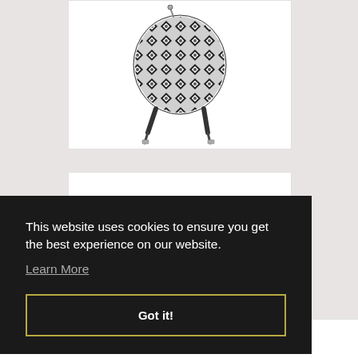[Figure (photo): A black and white patterned drawstring bag or pouch with geometric diamond and cross patterns, shown with straps hanging down]
This website uses cookies to ensure you get the best experience on our website.
Learn More
Got it!
SUBSCRIBE TO THE NEWSLETTER